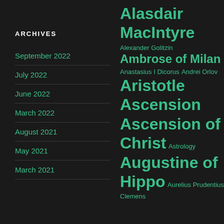ARCHIVES
September 2022
July 2022
June 2022
March 2022
August 2021
May 2021
March 2021
[Figure (infographic): Tag cloud with entries: Alasdair MacIntyre (large), Alexander Golitzin (small), Ambrose of Milan (large), Anastasius I Dicorus (small), Andrei Orlov (small), Aristotle (large), Ascension (large), Ascension of Christ (large), Astrology (small), Augustine of Hippo (large), Aurelius Prudentius Clemens (small)]